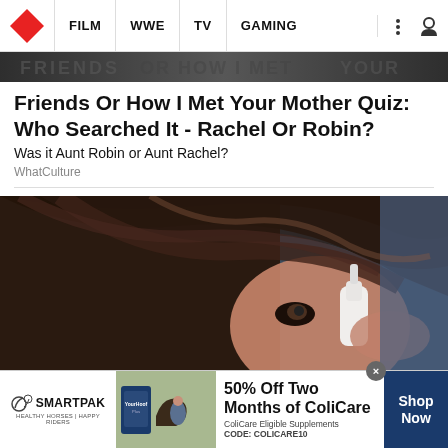WhatCulture — FILM | WWE | TV | GAMING
[Figure (photo): Blurred banner image strip at top of article page, showing stylized text graphic in dark tones]
Friends Or How I Met Your Mother Quiz: Who Searched It - Rachel Or Robin?
Was it Aunt Robin or Aunt Rachel?
WhatCulture
[Figure (photo): Close-up photo of a dark-haired woman applying a nasal spray or eye drops, seen from the side, with dark hair swept across, against a blurred blue background]
[Figure (infographic): SmartPak advertisement banner: 50% Off Two Months of ColiCare. ColiCare Eligible Supplements. CODE: COLICARE10. Shop Now.]